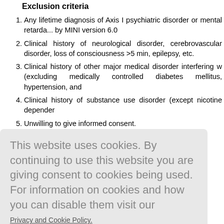Exclusion criteria
Any lifetime diagnosis of Axis I psychiatric disorder or mental retarda... by MINI version 6.0
Clinical history of neurological disorder, cerebrovascular disorder, ... loss of consciousness >5 min, epilepsy, etc.
Clinical history of other major medical disorder interfering w... (excluding medically controlled diabetes mellitus, hypertension, and...
Clinical history of substance use disorder (except nicotine depender...
Unwilling to give informed consent.
This website uses cookies. By continuing to use this website you are giving consent to cookies being used. For information on cookies and how you can disable them visit our Privacy and Cookie Policy. AGREE & PROCEED